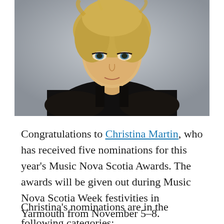[Figure (photo): Portrait photo of Christina Martin, a blonde woman wearing a black tank top, looking at the camera against a light gray background.]
Congratulations to Christina Martin, who has received five nominations for this year's Music Nova Scotia Awards. The awards will be given out during Music Nova Scotia Week festivities in Yarmouth from November 5-8.
Christina's nominations are in the following categories: